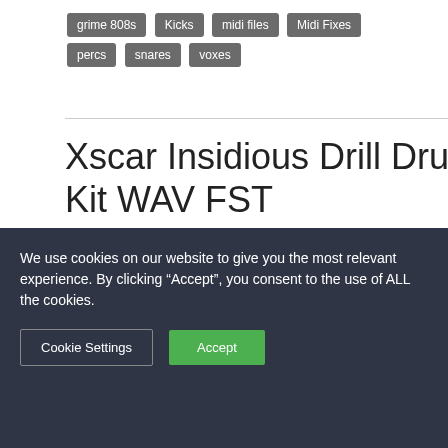grime 808s
Kicks
midi files
Midi Fixes
percs
snares
voxes
Xscar Insidious Drill Drum Kit WAV FST
By Vsthouse | March 25, 2022
[Figure (illustration): Gradient image banner with pink to purple to blue colors, partially visible. Label 'Xscar' visible to the right.]
We use cookies on our website to give you the most relevant experience. By clicking “Accept”, you consent to the use of ALL the cookies.